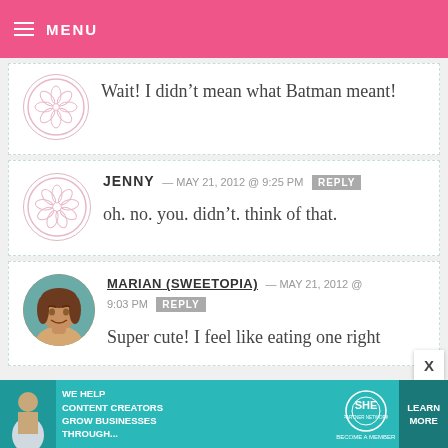MENU
Wait! I didn't mean what Batman meant!
JENNY — MAY 21, 2012 @ 9:25 PM  REPLY
oh. no. you. didn't. think of that.
MARIAN (SWEETOPIA) — MAY 21, 2012 @ 9:03 PM  REPLY
Super cute! I feel like eating one right
[Figure (infographic): Ad banner: WE HELP CONTENT CREATORS GROW BUSINESSES THROUGH... SHE PARTNER NETWORK BECOME A MEMBER LEARN MORE]